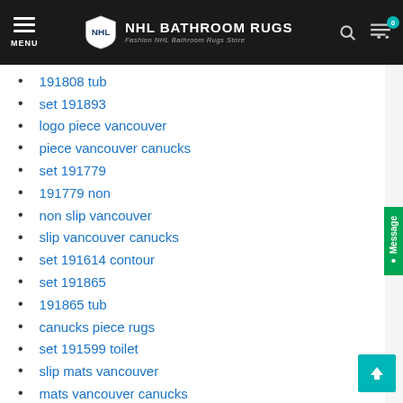NHL BATHROOM RUGS — Fashion NHL Bathroom Rugs Store
191808 tub
set 191893
logo piece vancouver
piece vancouver canucks
set 191779
191779 non
non slip vancouver
slip vancouver canucks
set 191614 contour
set 191865
191865 tub
canucks piece rugs
set 191599 toilet
slip mats vancouver
mats vancouver canucks
set 192171 rectangular
192171 rectangular area
set 191666